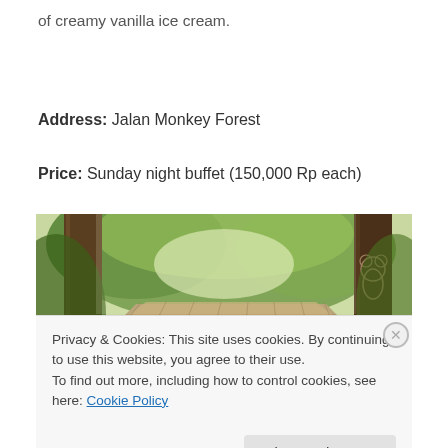of creamy vanilla ice cream.
Address: Jalan Monkey Forest
Price: Sunday night buffet (150,000 Rp each)
[Figure (photo): Outdoor tropical scene showing thatched roof structure surrounded by lush green trees, viewed through wooden posts. A cartoon drawing is visible on the right post.]
Privacy & Cookies: This site uses cookies. By continuing to use this website, you agree to their use.
To find out more, including how to control cookies, see here: Cookie Policy